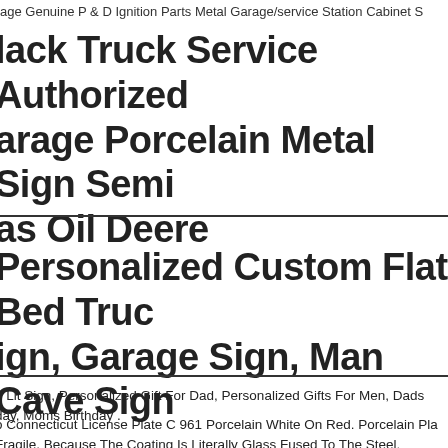age Genuine P & D Ignition Parts Metal Garage/service Station Cabinet S
lack Truck Service Authorized Garage Porcelain Metal Sign Semi as Oil Deere
Personalized Custom Flat Bed Truck Sign, Garage Sign, Man Cave Sign
e Lit Sign, Personalized Gift For Dad, Personalized Gifts For Men, Dads day, Moms Birthday .
o Connecticut License Plate C 961 Porcelain White On Red. Porcelain Pla Fragile, Because The Coating Is Literally Glass Fused To The Steel.